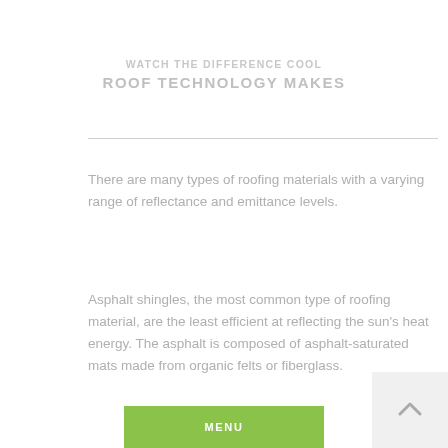WATCH THE DIFFERENCE COOL ROOF TECHNOLOGY MAKES
There are many types of roofing materials with a varying range of reflectance and emittance levels.
Asphalt shingles, the most common type of roofing material, are the least efficient at reflecting the sun’s heat energy. The asphalt is composed of asphalt-saturated mats made from organic felts or fiberglass.
Roofing granules, millimeter sized